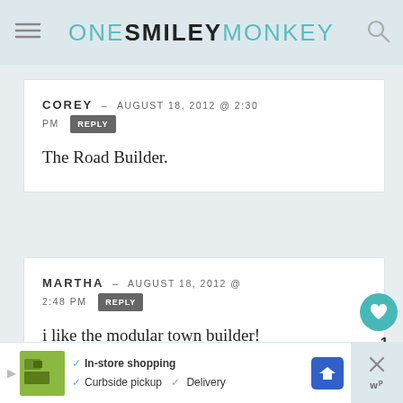ONE SMILEY MONKEY
COREY – AUGUST 18, 2012 @ 2:30 PM  REPLY
The Road Builder.
MARTHA – AUGUST 18, 2012 @ 2:48 PM  REPLY
i like the modular town builder!
[Figure (screenshot): Ad banner with in-store shopping, curbside pickup, and delivery checkmarks, a navigation arrow icon, and an X close button]